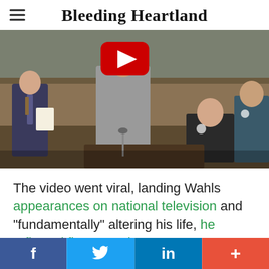Bleeding Heartland
[Figure (photo): Legislative chamber scene showing people standing and seated at desks, with a YouTube play button overlay visible in the upper center of the image.]
The video went viral, landing Wahls appearances on national television and "fundamentally" altering his life, he reflected five years later.
The bio page on Wahls' new campaign website notes
f  [Twitter bird]  in  +